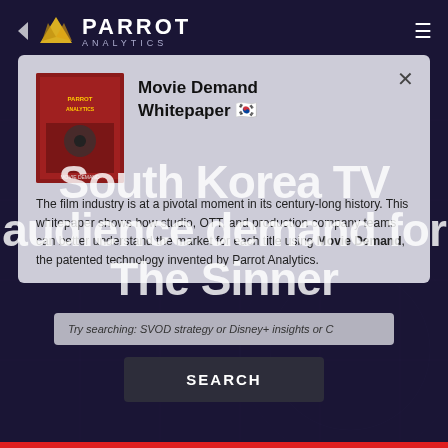[Figure (logo): Parrot Analytics logo with yellow triangle/parrot icon and white text PARROT ANALYTICS on dark navy background header]
Movie Demand Whitepaper
The film industry is at a pivotal moment in its century-long history. This whitepaper shows how studio, OTT, and production company teams can better understand the market for each title using Movie Demand, the patented technology invented by Parrot Analytics.
South Korea TV audience demand for The Sinner
Try searching: SVOD strategy or Disney+ insights or C